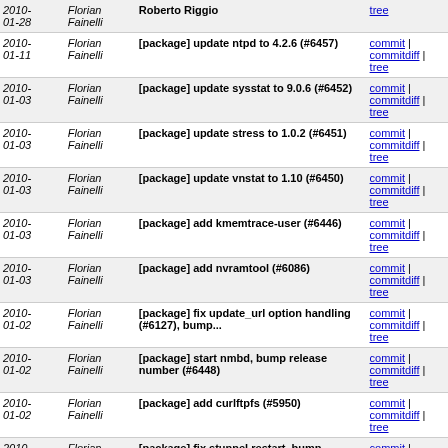| Date | Author | Message | Links |
| --- | --- | --- | --- |
| 2010-01-11 | Florian Fainelli | [package] update ntpd to 4.2.6 (#6457) | commit | commitdiff | tree |
| 2010-01-03 | Florian Fainelli | [package] update sysstat to 9.0.6 (#6452) | commit | commitdiff | tree |
| 2010-01-03 | Florian Fainelli | [package] update stress to 1.0.2 (#6451) | commit | commitdiff | tree |
| 2010-01-03 | Florian Fainelli | [package] update vnstat to 1.10 (#6450) | commit | commitdiff | tree |
| 2010-01-03 | Florian Fainelli | [package] add kmemtrace-user (#6446) | commit | commitdiff | tree |
| 2010-01-03 | Florian Fainelli | [package] add nvramtool (#6086) | commit | commitdiff | tree |
| 2010-01-02 | Florian Fainelli | [package] fix update_url option handling (#6127), bump... | commit | commitdiff | tree |
| 2010-01-02 | Florian Fainelli | [package] start nmbd, bump release number (#6448) | commit | commitdiff | tree |
| 2010-01-02 | Florian Fainelli | [package] add curlftpfs (#5950) | commit | commitdiff | tree |
| 2010-01-02 | Florian Fainelli | [package] fix stunnel restart, bump makefile (#5897... | commit | commitdiff | tree |
| 2010-01-02 | Florian Fainelli | [package] fix zabbix dependencies, remove whitespaces | commit | commitdiff | tree |
| 2010-01-02 | Florian Fainelli | [package] add dnsmax and thatip provides to ddns-scripts... | commit | commitdiff | tree |
| 2010-01-02 | Florian Fainelli | [package] package nmbd, fix smbd and nmbd acquiring... | commit | commitdiff | tree |